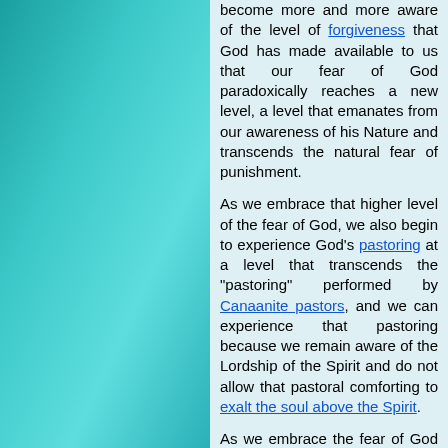[Figure (illustration): Teal/cyan gradient decorative panel on the left side of the page]
become more and more aware of the level of forgiveness that God has made available to us that our fear of God paradoxically reaches a new level, a level that emanates from our awareness of his Nature and transcends the natural fear of punishment.

As we embrace that higher level of the fear of God, we also begin to experience God's pastoring at a level that transcends the "pastoring" performed by Canaanite pastors, and we can experience that pastoring because we remain aware of the Lordship of the Spirit and do not allow that pastoral comforting to exalt the soul above the Spirit.

As we embrace the fear of God at the New-Covenant level, God's "monstrous" teras